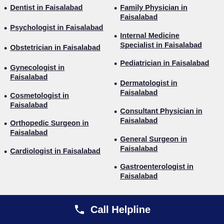Dentist in Faisalabad
Family Physician in Faisalabad
Psychologist in Faisalabad
Internal Medicine Specialist in Faisalabad
Obstetrician in Faisalabad
Pediatrician in Faisalabad
Gynecologist in Faisalabad
Dermatologist in Faisalabad
Cosmetologist in Faisalabad
Consultant Physician in Faisalabad
Orthopedic Surgeon in Faisalabad
General Surgeon in Faisalabad
Cardiologist in Faisalabad
Gastroenterologist in Faisalabad
Call Helpline